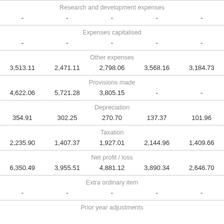| Research and development expenses |
| - | - | - | - | - |
| Expenses capitalised |
| - | - | - | - | - |
| Other expenses |
| 3,513.11 | 2,471.11 | 2,798.06 | 3,568.16 | 3,184.73 |
| Provisions made |
| 4,622.06 | 5,721.28 | 3,805.15 | - | - |
| Depreciation |
| 354.91 | 302.25 | 270.70 | 137.37 | 101.96 |
| Taxation |
| 2,235.90 | 1,407.37 | 1,927.01 | 2,144.96 | 1,409.66 |
| Net profit / loss |
| 6,350.49 | 3,955.51 | 4,881.12 | 3,890.34 | 2,646.70 |
| Extra ordinary item |
| - | - | - | - | - |
| Prior year adjustments |